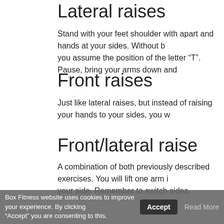Lateral raises
Stand with your feet shoulder with apart and hands at your sides. Without b you assume the position of the letter “T”. Pause, bring your arms down and
Front raises
Just like lateral raises, but instead of raising your hands to your sides, you w
Front/lateral raise
A combination of both previously described exercises. You will lift one arm i your side. Remember to switch sides.
Box Fitness website uses cookies to improve your experience. By clicking “Accept” you are consenting to this. Accept Read More